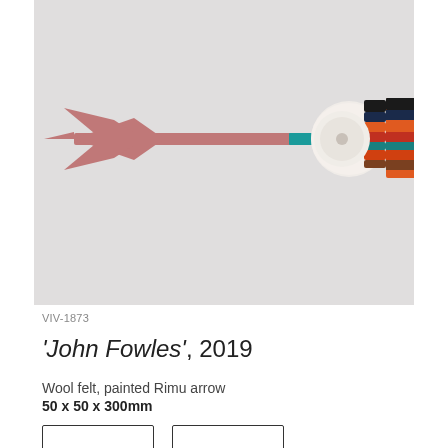[Figure (photo): A close-up photograph of a sculptural arrow made with a pink/dusty rose painted flat arrowhead and flat fletching, with a teal-painted wooden shaft, and a handle wrapped in stacked rings of colored wool felt in white, black, orange, red, teal, and brown, against a light grey background.]
VIV-1873
'John Fowles', 2019
Wool felt, painted Rimu arrow
50 x 50 x 300mm